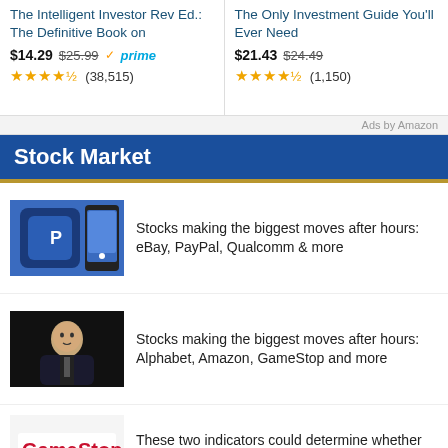[Figure (other): Ad card: The Intelligent Investor Rev Ed.: The Definitive Book on – $14.29, was $25.99, Prime, 4.5 stars (38,515)]
[Figure (other): Ad card: The Only Investment Guide You'll Ever Need – $21.43, was $24.49, 4.5 stars (1,150)]
Ads by Amazon
Stock Market
[Figure (photo): Thumbnail: hand holding phone showing PayPal app]
Stocks making the biggest moves after hours: eBay, PayPal, Qualcomm & more
[Figure (photo): Thumbnail: Jeff Bezos speaking at event]
Stocks making the biggest moves after hours: Alphabet, Amazon, GameStop and more
[Figure (photo): Thumbnail: GameStop logo sign]
These two indicators could determine whether the GameStop rally is near its end